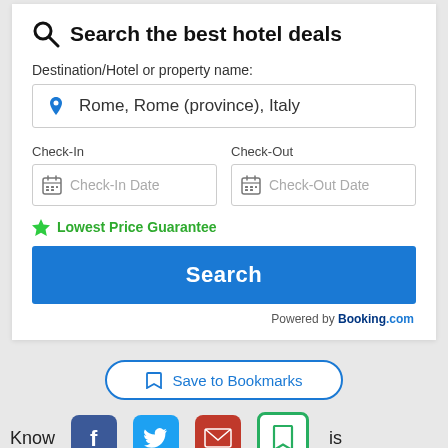Search the best hotel deals
Destination/Hotel or property name:
Rome, Rome (province), Italy
Check-In
Check-In Date
Check-Out
Check-Out Date
Lowest Price Guarantee
Search
Powered by Booking.com
Save to Bookmarks
Know
is